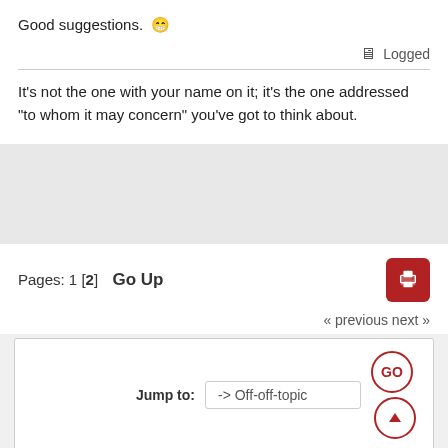Good suggestions. 😁
Logged
It's not the one with your name on it; it's the one addressed "to whom it may concern" you've got to think about.
Pages: 1 [2]  Go Up
« previous next »
Jump to:  -> Off-off-topic  GO